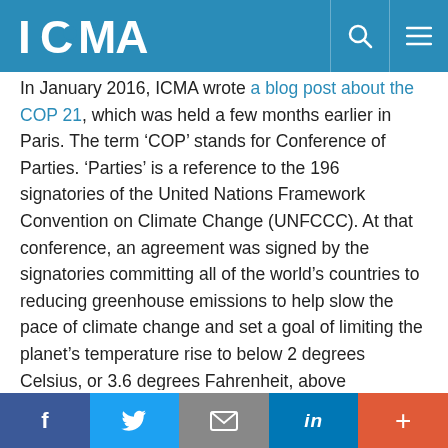ICMA
In January 2016, ICMA wrote a blog post about the COP 21, which was held a few months earlier in Paris. The term ‘COP’ stands for Conference of Parties. ‘Parties’ is a reference to the 196 signatories of the United Nations Framework Convention on Climate Change (UNFCCC). At that conference, an agreement was signed by the signatories committing all of the world’s countries to reducing greenhouse emissions to help slow the pace of climate change and set a goal of limiting the planet’s temperature rise to below 2 degrees Celsius, or 3.6 degrees Fahrenheit, above preindustrial levels. As the article states, while the agreement was signed by national leaders, it was clear that if the goals were to be met, local governments would have to play a key role in helping to limit carbon emissions. Five years later,
f  Twitter  Email  in  +